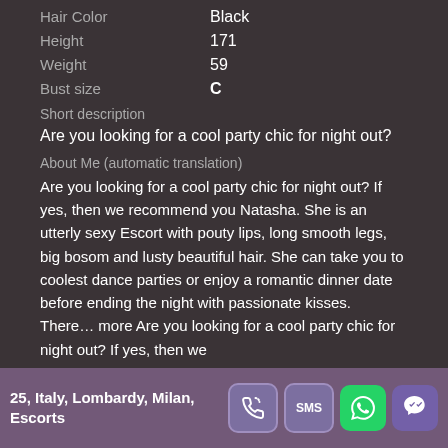| Attribute | Value |
| --- | --- |
| Hair Color | Black |
| Height | 171 |
| Weight | 59 |
| Bust size | C |
Short description
Are you looking for a cool party chic for night out?
About Me (automatic translation)
Are you looking for a cool party chic for night out? If yes, then we recommend you Natasha. She is an utterly sexy Escort with pouty lips, long smooth legs, big bosom and lusty beautiful hair. She can take you to coolest dance parties or enjoy a romantic dinner date before ending the night with passionate kisses. There… more Are you looking for a cool party chic for night out? If yes, then we
25, Italy, Lombardy, Milan, Escorts